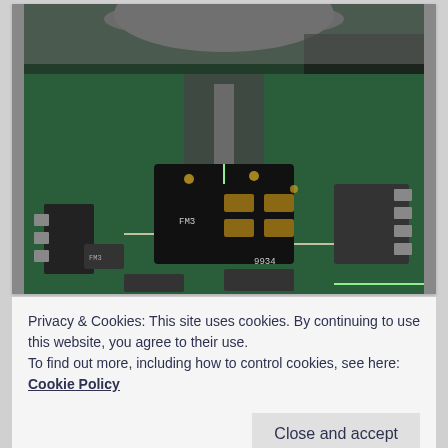[Figure (photo): Close-up macro photograph of a green circuit board (PCB) showing electronic components including SMD capacitors, transistors, inductors, and soldered connections. A metallic circular component (possibly a speaker or magnet) is visible at the top. Components have markings such as 'FM3' and '9934' visible on chips.]
Privacy & Cookies: This site uses cookies. By continuing to use this website, you agree to their use.
To find out more, including how to control cookies, see here: Cookie Policy
Close and accept
[Figure (photo): Partial view of another circuit board image at the bottom of the page, partially cut off.]